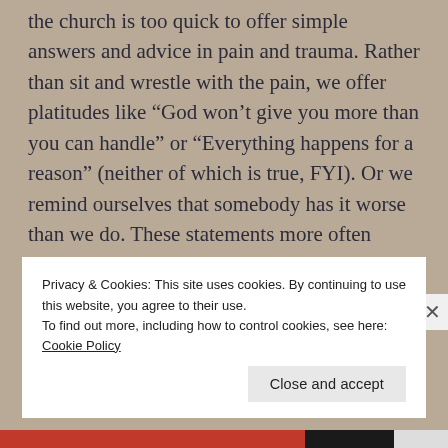the church is too quick to offer simple answers and advice in pain and trauma. Rather than sit and wrestle with the pain, we offer platitudes like “God won’t give you more than you can handle” or “Everything happens for a reason” (neither of which is true, FYI). Or we remind ourselves that somebody has it worse than we do. These statements more often cause someone to gloss over their pain and dismiss their feelings.
Privacy & Cookies: This site uses cookies. By continuing to use this website, you agree to their use.
To find out more, including how to control cookies, see here: Cookie Policy